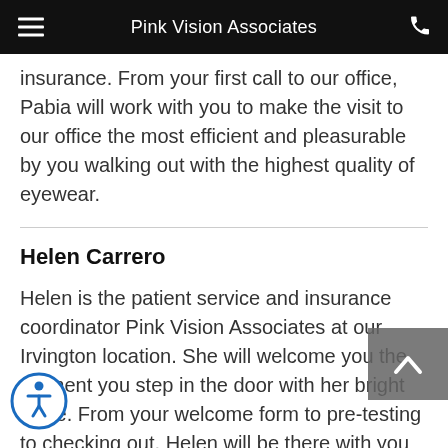Pink Vision Associates
insurance. From your first call to our office, Pabia will work with you to make the visit to our office the most efficient and pleasurable by you walking out with the highest quality of eyewear.
Helen Carrero
Helen is the patient service and insurance coordinator Pink Vision Associates at our Irvington location. She will welcome you the moment you step in the door with her bright smile. From your welcome form to pre-testing to checking out, Helen will be there with you to answer any questions you may have. We understand that your time is precious and thus Helen will help make your visit to our office as efficient as